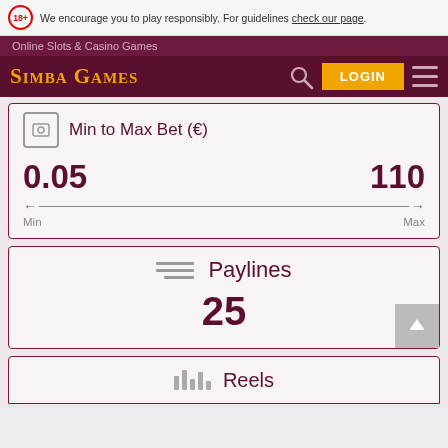18+ We encourage you to play responsibly. For guidelines check our page.
Online Slots & Casino Games
Simba Games
[Figure (infographic): Min to Max Bet widget showing range 0.05 to 110 with arrow slider]
[Figure (infographic): Paylines widget showing value 25]
[Figure (infographic): Partially visible third card with bar chart icon and title beginning with 'Reels']